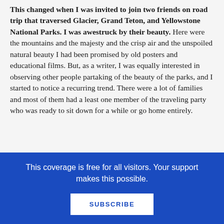This changed when I was invited to join two friends on road trip that traversed Glacier, Grand Teton, and Yellowstone National Parks. I was awestruck by their beauty. Here were the mountains and the majesty and the crisp air and the unspoiled natural beauty I had been promised by old posters and educational films. But, as a writer, I was equally interested in observing other people partaking of the beauty of the parks, and I started to notice a recurring trend. There were a lot of families and most of them had a least one member of the traveling party who was ready to sit down for a while or go home entirely.
This coverage is free for all visitors. Your support makes this possible.
SUBSCRIBE